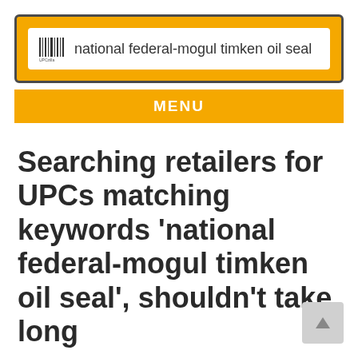[Figure (screenshot): Search bar with barcode icon showing query 'national federal-mogul timken oil seal' on a yellow/gold background with dark border]
MENU
Searching retailers for UPCs matching keywords 'national federal-mogul timken oil seal', shouldn't take long